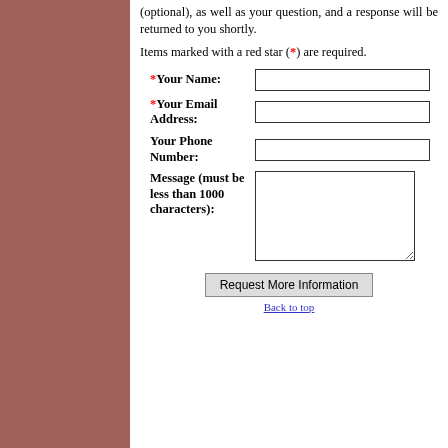(optional), as well as your question, and a response will be returned to you shortly.
Items marked with a red star (*) are required.
*Your Name:
*Your Email Address:
Your Phone Number:
Message (must be less than 1000 characters):
Request More Information
Back to top